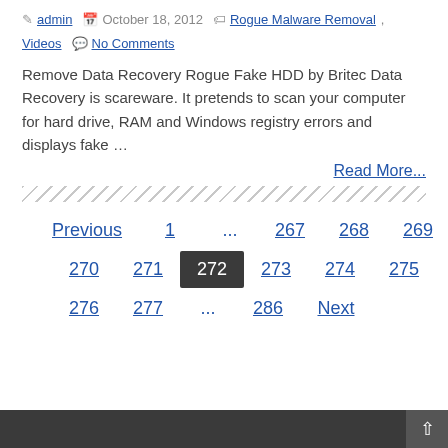admin | October 18, 2012 | Rogue Malware Removal, Videos | No Comments
Remove Data Recovery Rogue Fake HDD by Britec Data Recovery is scareware. It pretends to scan your computer for hard drive, RAM and Windows registry errors and displays fake …
Read More...
Previous 1 ... 267 268 269 270 271 272 273 274 275 276 277 ... 286 Next